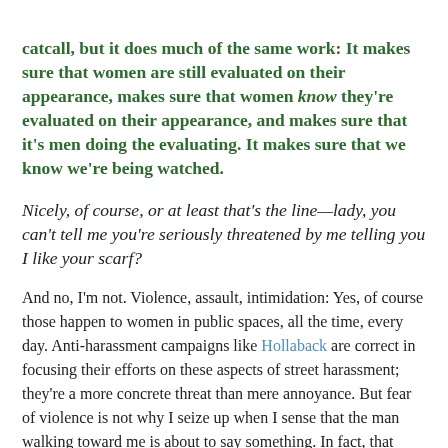catcall, but it does much of the same work: It makes sure that women are still evaluated on their appearance, makes sure that women know they're evaluated on their appearance, and makes sure that it's men doing the evaluating. It makes sure that we know we're being watched. Nicely, of course, or at least that's the line—lady, you can't tell me you're seriously threatened by me telling you I like your scarf?
And no, I'm not. Violence, assault, intimidation: Yes, of course those happen to women in public spaces, all the time, every day. Anti-harassment campaigns like Hollaback are correct in focusing their efforts on these aspects of street harassment; they're a more concrete threat than mere annoyance. But fear of violence is not why I seize up when I sense that the man walking toward me is about to say something. In fact, that seizing isn't usually about fear at all, but about weariness. Weariness about the fact that even if—let's hand out the benefit of the doubt here—men who say things to me, and to you, really do just like the color of our scarves, there's still a presumption that we want to know about it. And I do want to know, sure, and I delight in hearing